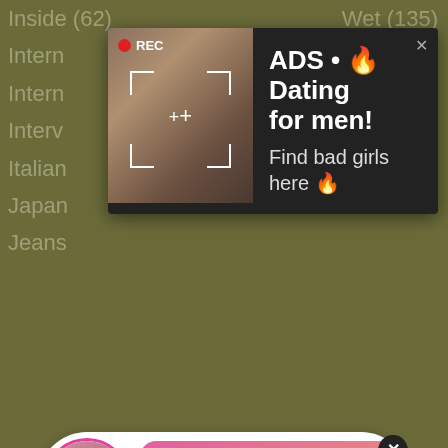Inside (62)
Intern
Intern
Interv
Italian
Japan
Jeans
Wet (135)
[Figure (screenshot): Top ad popup with dark background showing a woman taking a selfie with camera recording indicator (REC), camera frame corners, and text: ADS • Dating for men! Find bad girls here]
[Figure (screenshot): Bottom notification popup with pink gradient bubble showing avatar with LIVE badge, ADS label, 'Angel is typing ... (1) unread message', and X close button]